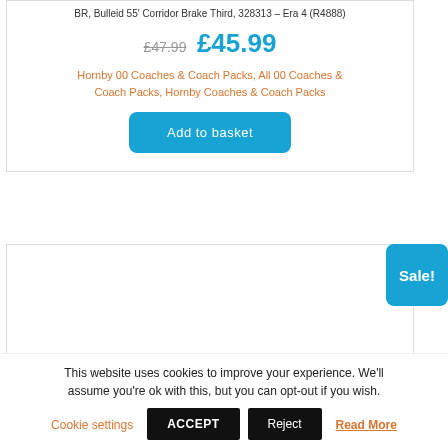BR, Bulleid 55' Corridor Brake Third, 328313 – Era 4 (R4888)
£47.99 £45.99
Hornby 00 Coaches & Coach Packs, All 00 Coaches & Coach Packs, Hornby Coaches & Coach Packs
Add to basket
[Figure (other): Sale! badge on product card]
This website uses cookies to improve your experience. We'll assume you're ok with this, but you can opt-out if you wish.
Cookie settings  ACCEPT  Reject  Read More